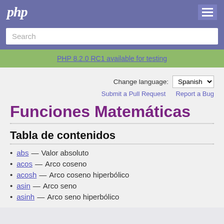php
Search
PHP 8.2.0 RC1 available for testing
Change language: Spanish
Submit a Pull Request   Report a Bug
Funciones Matemáticas
Tabla de contenidos
abs — Valor absoluto
acos — Arco coseno
acosh — Arco coseno hiperbólico
asin — Arco seno
asinh — Arco seno hiperbólico